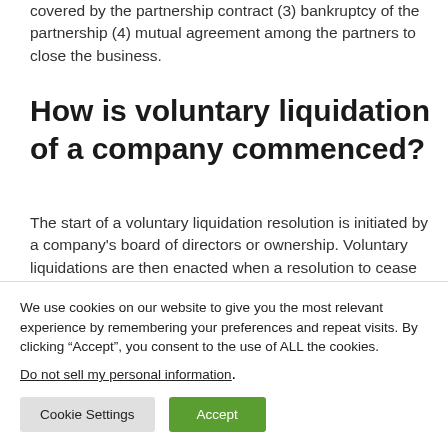covered by the partnership contract (3) bankruptcy of the partnership (4) mutual agreement among the partners to close the business.
How is voluntary liquidation of a company commenced?
The start of a voluntary liquidation resolution is initiated by a company's board of directors or ownership. Voluntary liquidations are then enacted when a resolution to cease operations (assuming
We use cookies on our website to give you the most relevant experience by remembering your preferences and repeat visits. By clicking “Accept”, you consent to the use of ALL the cookies.
Do not sell my personal information.